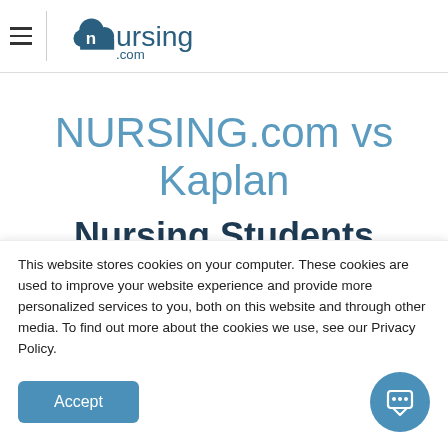nursing.com
NURSING.com vs Kaplan
Nursing Students Pass Tests With
This website stores cookies on your computer. These cookies are used to improve your website experience and provide more personalized services to you, both on this website and through other media. To find out more about the cookies we use, see our Privacy Policy.
Accept